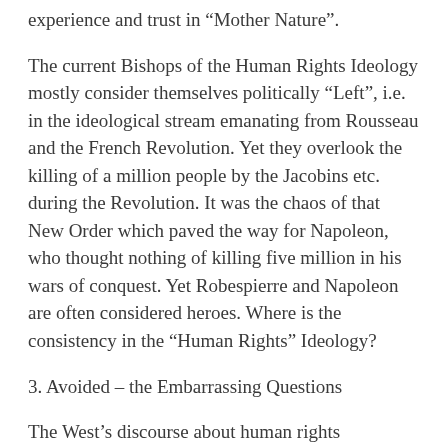experience and trust in “Mother Nature”.
The current Bishops of the Human Rights Ideology mostly consider themselves politically “Left”, i.e. in the ideological stream emanating from Rousseau and the French Revolution. Yet they overlook the killing of a million people by the Jacobins etc. during the Revolution. It was the chaos of that New Order which paved the way for Napoleon, who thought nothing of killing five million in his wars of conquest. Yet Robespierre and Napoleon are often considered heroes. Where is the consistency in the “Human Rights” Ideology?
3. Avoided – the Embarrassing Questions
The West’s discourse about human rights studiously avoids the big questions: (i) Where